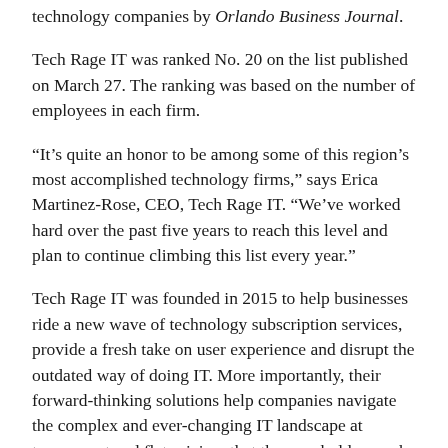technology companies by Orlando Business Journal.
Tech Rage IT was ranked No. 20 on the list published on March 27. The ranking was based on the number of employees in each firm.
“It’s quite an honor to be among some of this region’s most accomplished technology firms,” says Erica Martinez-Rose, CEO, Tech Rage IT. “We’ve worked hard over the past five years to reach this level and plan to continue climbing this list every year.”
Tech Rage IT was founded in 2015 to help businesses ride a new wave of technology subscription services, provide a fresh take on user experience and disrupt the outdated way of doing IT. More importantly, their forward-thinking solutions help companies navigate the complex and ever-changing IT landscape at transparent and flat pricing, that they are bold enough to make available on their website.
Tech Rage IT’s registered tagline “We Prevent Tech Rage” speaks to their laser focus of being a recognized leader in